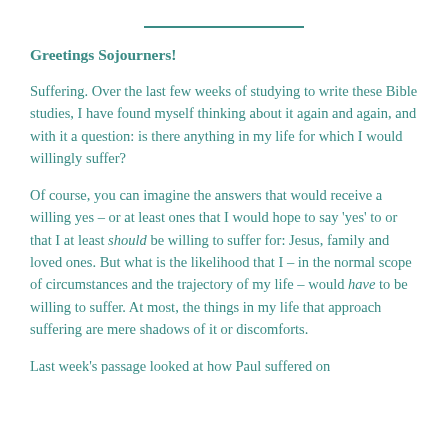———————————
Greetings Sojourners!
Suffering. Over the last few weeks of studying to write these Bible studies, I have found myself thinking about it again and again, and with it a question: is there anything in my life for which I would willingly suffer?
Of course, you can imagine the answers that would receive a willing yes – or at least ones that I would hope to say 'yes' to or that I at least should be willing to suffer for: Jesus, family and loved ones. But what is the likelihood that I – in the normal scope of circumstances and the trajectory of my life – would have to be willing to suffer. At most, the things in my life that approach suffering are mere shadows of it or discomforts.
Last week's passage looked at how Paul suffered on